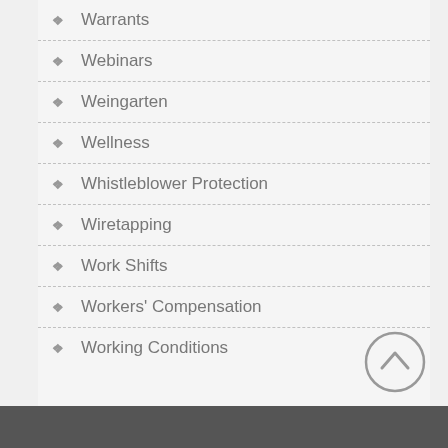Warrants
Webinars
Weingarten
Wellness
Whistleblower Protection
Wiretapping
Work Shifts
Workers' Compensation
Working Conditions
[Figure (other): Scroll-to-top circular button with upward chevron arrow]